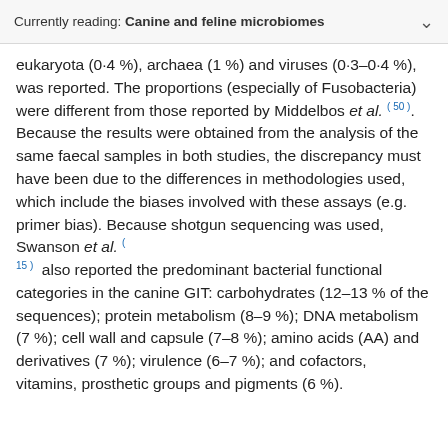Currently reading: Canine and feline microbiomes
eukaryota (0·4 %), archaea (1 %) and viruses (0·3–0·4 %), was reported. The proportions (especially of Fusobacteria) were different from those reported by Middelbos et al. (50). Because the results were obtained from the analysis of the same faecal samples in both studies, the discrepancy must have been due to the differences in methodologies used, which include the biases involved with these assays (e.g. primer bias). Because shotgun sequencing was used, Swanson et al. (15) also reported the predominant bacterial functional categories in the canine GIT: carbohydrates (12–13 % of the sequences); protein metabolism (8–9 %); DNA metabolism (7 %); cell wall and capsule (7–8 %); amino acids (AA) and derivatives (7 %); virulence (6–7 %); and cofactors, vitamins, prosthetic groups and pigments (6 %).